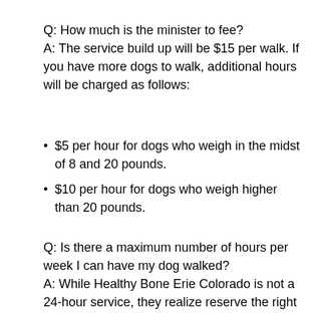Q: How much is the minister to fee?
A: The service build up will be $15 per walk. If you have more dogs to walk, additional hours will be charged as follows:
$5 per hour for dogs who weigh in the midst of 8 and 20 pounds.
$10 per hour for dogs who weigh higher than 20 pounds.
Q: Is there a maximum number of hours per week I can have my dog walked?
A: While Healthy Bone Erie Colorado is not a 24-hour service, they realize reserve the right to refuse your demand if they vibes that your pet is inborn walked excessively or excessively late at night during our off-hours. They complete not